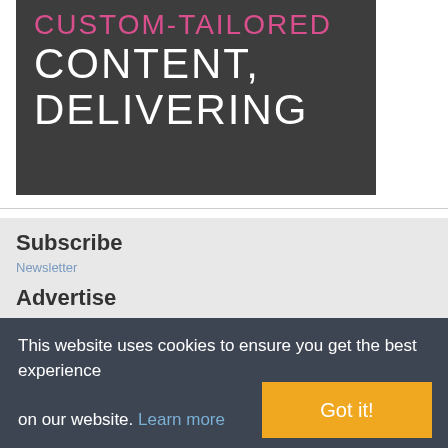CUSTOM-TAILORED CONTENT, DELIVERING
Subscribe
Newsletter
Advertise
This website uses cookies to ensure you get the best experience on our website. Learn more
Got it!